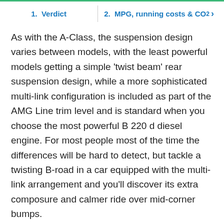1. Verdict | 2. MPG, running costs & CO2
As with the A-Class, the suspension design varies between models, with the least powerful models getting a simple 'twist beam' rear suspension design, while a more sophisticated multi-link configuration is included as part of the AMG Line trim level and is standard when you choose the most powerful B 220 d diesel engine. For most people most of the time the differences will be hard to detect, but tackle a twisting B-road in a car equipped with the multi-link arrangement and you'll discover its extra composure and calmer ride over mid-corner bumps.
On all B-Class models there's not a huge amount of feel